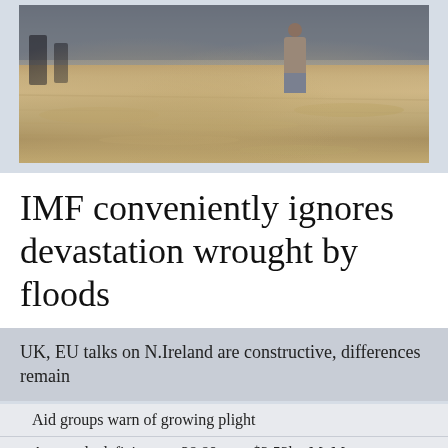[Figure (photo): Flood scene with a person wading through brown flood water]
IMF conveniently ignores devastation wrought by floods
UK, EU talks on N.Ireland are constructive, differences remain
Aid groups warn of growing plight
Aug trade deficit soars 28.89pc to $3.53bn MoM
British HC, COAS discuss regional security